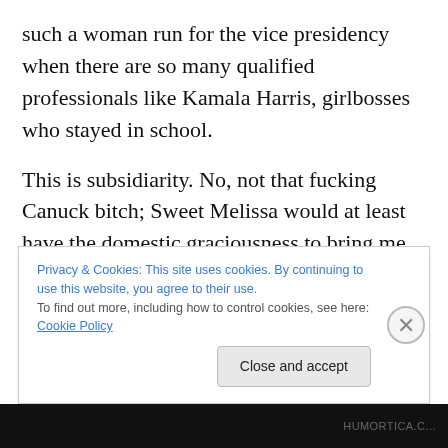such a woman run for the vice presidency when there are so many qualified professionals like Kamala Harris, girlbosses who stayed in school.
This is subsidiarity. No, not that fucking Canuck bitch; Sweet Melissa would at least have the domestic graciousness to bring me coffee in deathbed, and I should hope we would flee for protection to better death penalty abolitionists than that goddamned Anglo-Quebecker when we have Nob Hill Dreamboat holding the dual offices of the governorship and Napa Valley Job Creator Customer in
Privacy & Cookies: This site uses cookies. By continuing to use this website, you agree to their use.
To find out more, including how to control cookies, see here: Cookie Policy
Close and accept